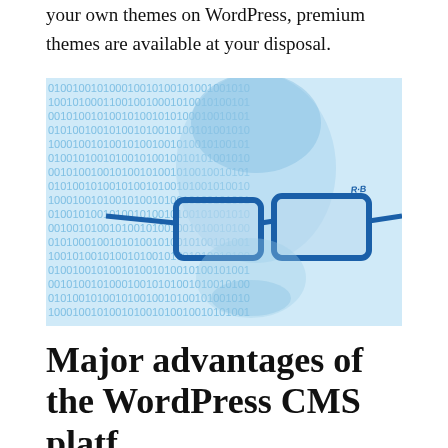your own themes on WordPress, premium themes are available at your disposal.
[Figure (photo): A person wearing blue Ray-Ban glasses with a digital binary code overlay effect in blue tones on a light background.]
Major advantages of the WordPress CMS platform